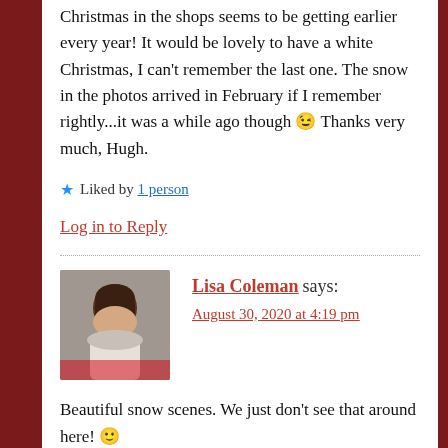Christmas in the shops seems to be getting earlier every year! It would be lovely to have a white Christmas, I can't remember the last one. The snow in the photos arrived in February if I remember rightly...it was a while ago though 😉 Thanks very much, Hugh.
★ Liked by 1 person
Log in to Reply
Lisa Coleman says: August 30, 2020 at 4:19 pm
Beautiful snow scenes. We just don't see that around here! 🙂